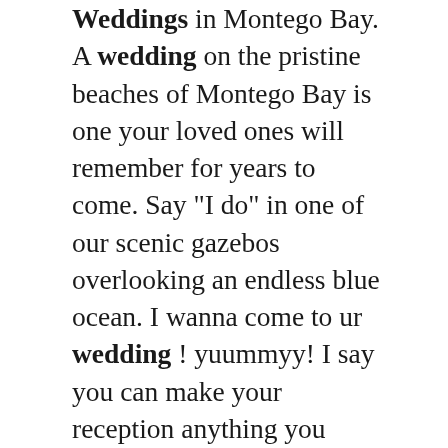Weddings in Montego Bay. A wedding on the pristine beaches of Montego Bay is one your loved ones will remember for years to come. Say "I do" in one of our scenic gazebos overlooking an endless blue ocean. I wanna come to ur wedding ! yuummyy! I say you can make your reception anything you want to I would look around and google u will be surprised to find a nice Jamaican restaurant who can cater. or do you know people from Jamaica who know anyone who cooks for parties. You want to make it authentic.. With 26 different signature cake designs and a variety of different flavors and fillings, there are plenty of combinations you can mix and match to create your perfect wedding cake. Plus, we offer additional dessert options, including cupcakes, petit fours, and couples cakes. Wedding Cakes & Sweets. Private Candlelight Dinner.. The Jamaican Scotch Bonnet...